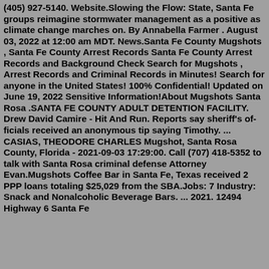(405) 927-5140. Website.Slowing the Flow: State, Santa Fe groups reimagine stormwater management as a positive as climate change marches on. By Annabella Farmer . August 03, 2022 at 12:00 am MDT. News.Santa Fe County Mugshots , Santa Fe County Arrest Records Santa Fe County Arrest Records and Background Check Search for Mugshots , Arrest Records and Criminal Records in Minutes! Search for anyone in the United States! 100% Confidential! Updated on June 19, 2022 Sensitive Information!About Mugshots Santa Rosa .SANTA FE COUNTY ADULT DETENTION FACILITY. Drew David Camire - Hit And Run. Reports say sheriff's officials received an anony-mous tip saying Timothy. ... CASIAS, THEODORE CHARLES Mugshot, Santa Rosa County, Florida - 2021-09-03 17:29:00. Call (707) 418-5352 to talk with Santa Rosa criminal defense Attorney Evan.Mugshots Coffee Bar in Santa Fe, Texas received 2 PPP loans totaling $25,029 from the SBA.Jobs: 7 Industry: Snack and Nonalcoholic Beverage Bars. ... 2021. 12494 Highway 6 Santa Fe